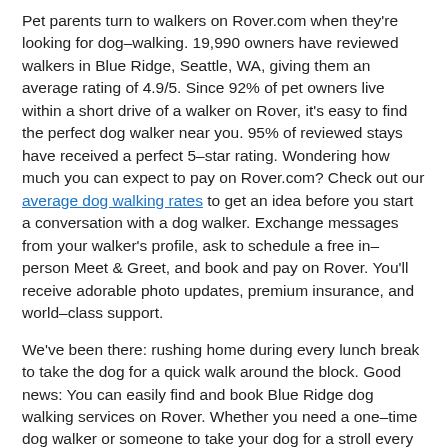Pet parents turn to walkers on Rover.com when they're looking for dog–walking. 19,990 owners have reviewed walkers in Blue Ridge, Seattle, WA, giving them an average rating of 4.9/5. Since 92% of pet owners live within a short drive of a walker on Rover, it's easy to find the perfect dog walker near you. 95% of reviewed stays have received a perfect 5–star rating. Wondering how much you can expect to pay on Rover.com? Check out our average dog walking rates to get an idea before you start a conversation with a dog walker. Exchange messages from your walker's profile, ask to schedule a free in–person Meet & Greet, and book and pay on Rover. You'll receive adorable photo updates, premium insurance, and world–class support.
We've been there: rushing home during every lunch break to take the dog for a quick walk around the block. Good news: You can easily find and book Blue Ridge dog walking services on Rover. Whether you need a one–time dog walker or someone to take your dog for a stroll every day, we've got you covered. Exercise for your dog and peace of mind for you are just a few clicks away. Every walk is covered by premium pet insurance, at no extra cost to you. You can even ask your dog walker to send you a photo update. Whether you already have a favorite dog walker on Rover or you're new to the site, we'd love to connect you with a dog walker in Blue Ridge, Seattle the next time you're unavailable. We're confident you and your dog will love it.